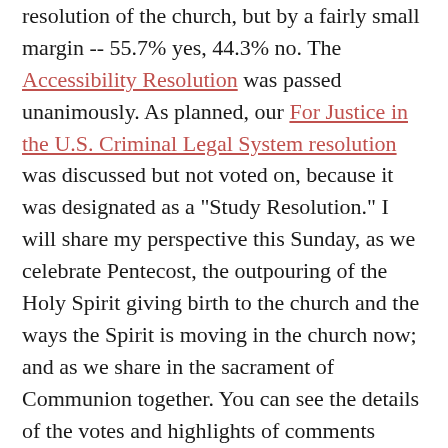resolution of the church, but by a fairly small margin -- 55.7% yes, 44.3% no. The Accessibility Resolution was passed unanimously. As planned, our For Justice in the U.S. Criminal Legal System resolution was discussed but not voted on, because it was designated as a "Study Resolution." I will share my perspective this Sunday, as we celebrate Pentecost, the outpouring of the Holy Spirit giving birth to the church and the ways the Spirit is moving in the church now; and as we share in the sacrament of Communion together. You can see the details of the votes and highlights of comments made in the discussions here.